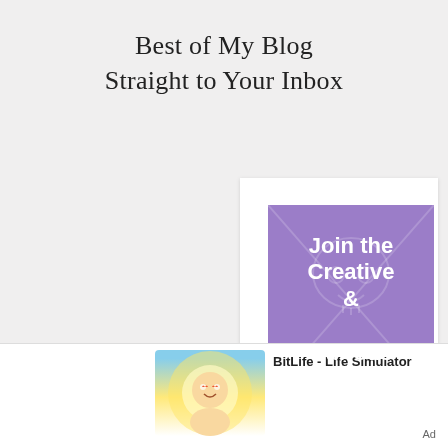Best of My Blog
Straight to Your Inbox
[Figure (illustration): A purple banner/card with decorative skull watermark design, white bold text reading 'Join the Creative & Curious Coven' (partially visible, text cut off at bottom). Displayed inside a white card frame.]
[Figure (screenshot): Advertisement for BitLife - Life Simulator app, showing app icon with cartoon baby character and yellow/blue sunburst background. Text: BitLife - Life Simulator]
Ad